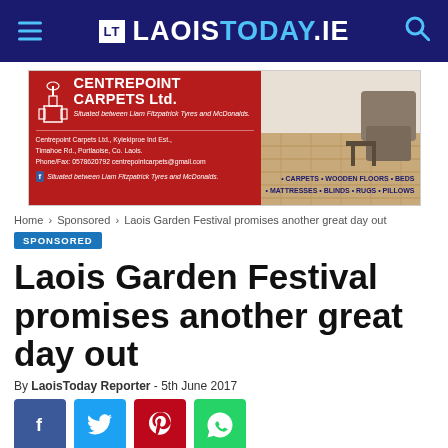LT LAOISTODAY.IE
[Figure (photo): Centrepoint Carpets Ltd. advertisement banner. Red left panel with company logo and contact details. Right panel shows a room with wooden flooring and furniture. Services listed: CARPETS, WOODEN FLOORS, BEDS, MATTRESSES, BLINDS, RUGS, PILLOWS.]
Home › Sponsored › Laois Garden Festival promises another great day out
SPONSORED
Laois Garden Festival promises another great day out
By LaoisToday Reporter - 5th June 2017
[Figure (infographic): Social share buttons: Facebook (blue), Twitter (cyan), Pinterest (red), WhatsApp (green)]